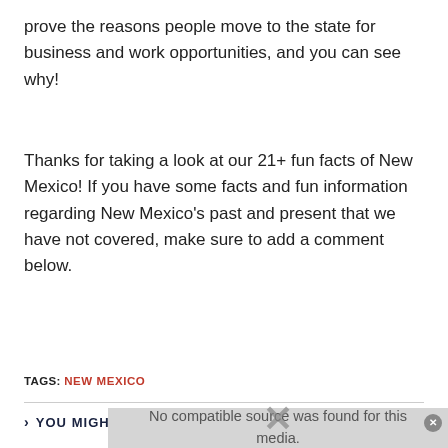prove the reasons people move to the state for business and work opportunities, and you can see why!
Thanks for taking a look at our 21+ fun facts of New Mexico! If you have some facts and fun information regarding New Mexico's past and present that we have not covered, make sure to add a comment below.
TAGS: NEW MEXICO
YOU MIGHT ALSO LIKE
[Figure (other): Video player overlay showing 'No compatible source was found for this media.' with a close button and an X symbol]